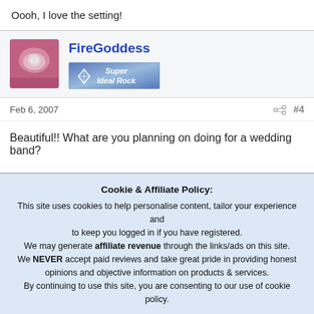Oooh, I love the setting!
FireGoddess
[Figure (logo): Super Ideal Rock badge/logo with diamond icon]
Feb 6, 2007  #4
Beautiful!! What are you planning on doing for a wedding band?
Cookie & Affiliate Policy: This site uses cookies to help personalise content, tailor your experience and to keep you logged in if you have registered. We may generate affiliate revenue through the links/ads on this site. We NEVER accept paid reviews and take great pride in providing honest opinions and objective information on products & services. By continuing to use this site, you are consenting to our use of cookie policy.